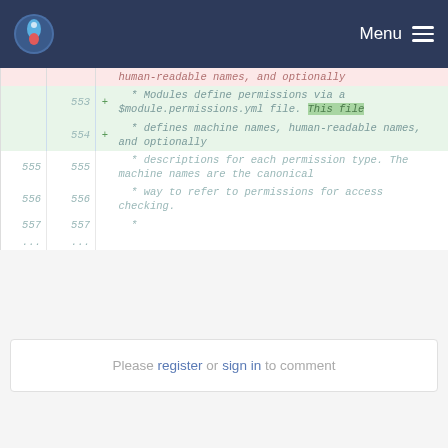Menu
| old ln | new ln | op | code |
| --- | --- | --- | --- |
|  |  |  | human-readable names, and optionally |
|  | 553 | + | * Modules define permissions via a $module.permissions.yml file. This file |
|  | 554 | + | * defines machine names, human-readable names, and optionally |
| 555 | 555 |  | * descriptions for each permission type. The machine names are the canonical |
| 556 | 556 |  | * way to refer to permissions for access checking. |
| 557 | 557 |  | * |
| ... | ... |  |  |
Please register or sign in to comment